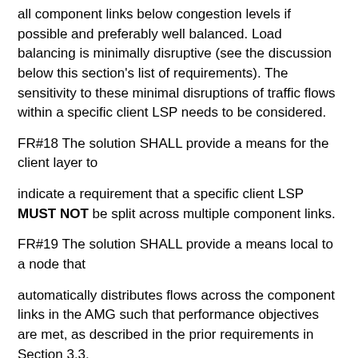all component links below congestion levels if possible and preferably well balanced. Load balancing is minimally disruptive (see the discussion below this section's list of requirements). The sensitivity to these minimal disruptions of traffic flows within a specific client LSP needs to be considered.
FR#18 The solution SHALL provide a means for the client layer to
indicate a requirement that a specific client LSP MUST NOT be split across multiple component links.
FR#19 The solution SHALL provide a means local to a node that
automatically distributes flows across the component links in the AMG such that performance objectives are met, as described in the prior requirements in Section 3.3.
FR#20 The solution SHALL measure traffic flows or groups of traffic